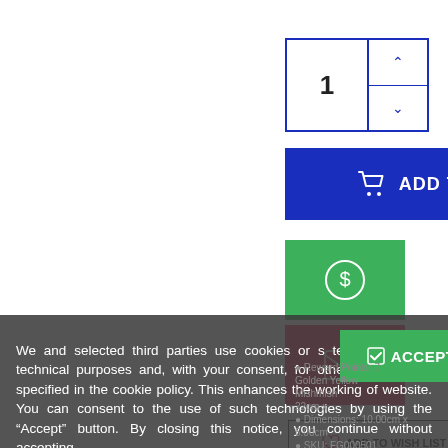[Figure (screenshot): E-commerce product page UI showing quantity spinner with value 1, Add to Cart button (blue), green dollar/rewards button, red email button, Add to Wishlist and Compare This buttons, and a cookie consent overlay with Accept button. Product details partially visible include Reward Points: 7, Golden Yellow color, Mishmish maker, dimensions 10.00cm x 5.00cm, SKU: FG000501.]
We and selected third parties use cookies or similar technologies for technical purposes and, with your consent, for other purposes as specified in the cookie policy. This enhances the working of website. You can consent to the use of such technologies by using the "Accept" button. By closing this notice, you continue without accepting.